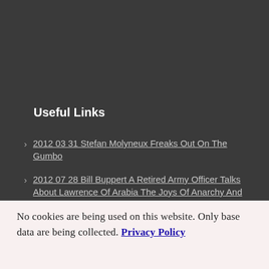Useful Links
2012 03 31 Stefan Molyneux Freaks Out On The Gumbo
2012 07 28 Bill Buppert A Retired Army Officer Talks About Lawrence Of Arabia The Joys Of Anarchy And How To Ssurvive The Coming Collapse
Trippin With The Bad Quaker
No cookies are being used on this website. Only base data are being collected. Privacy Policy